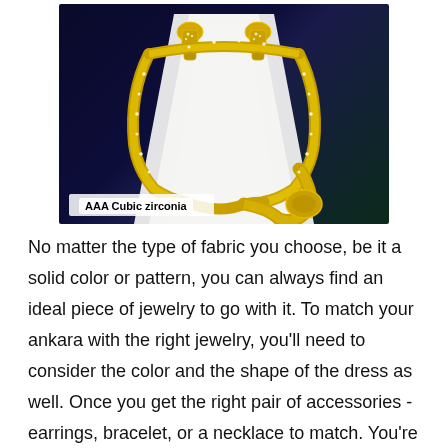[Figure (photo): Gold necklace and earring jewelry set displayed on a white jewelry stand against a dark background. The set features an ornate gold chain necklace with a tapered end and matching drop earrings, embellished with cubic zirconia stones. A watermark reads 'AAA Cubic zirconia' in the lower left corner.]
No matter the type of fabric you choose, be it a solid color or pattern, you can always find an ideal piece of jewelry to go with it. To match your ankara with the right jewelry, you'll need to consider the color and the shape of the dress as well. Once you get the right pair of accessories -earrings, bracelet, or a necklace to match. You're good to go. If you're in need of that For